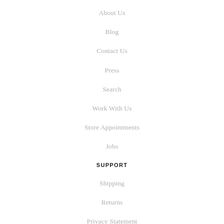About Us
Blog
Contact Us
Press
Search
Work With Us
Store Appointments
Jobs
SUPPORT
Shipping
Returns
Privacy Statement
Terms of Service